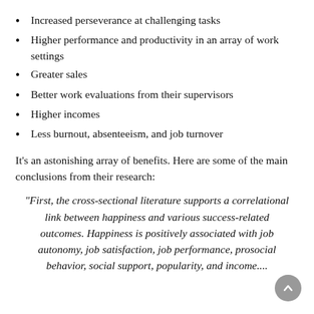Increased perseverance at challenging tasks
Higher performance and productivity in an array of work settings
Greater sales
Better work evaluations from their supervisors
Higher incomes
Less burnout, absenteeism, and job turnover
It’s an astonishing array of benefits. Here are some of the main conclusions from their research:
“First, the cross-sectional literature supports a correlational link between happiness and various success-related outcomes. Happiness is positively associated with job autonomy, job satisfaction, job performance, prosocial behavior, social support, popularity, and income....